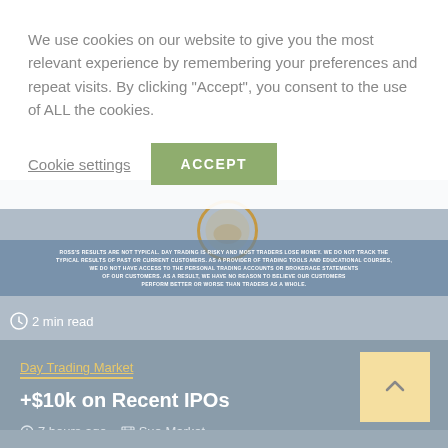We use cookies on our website to give you the most relevant experience by remembering your preferences and repeat visits. By clicking "Accept", you consent to the use of ALL the cookies.
Cookie settings
ACCEPT
[Figure (photo): Website screenshot showing a trading platform with a disclaimer band reading results are not typical, day trading is risky and most traders lose money. A circular logo/icon is overlaid on the image.]
2 min read
Day Trading Market
+$10k on Recent IPOs
7 hours ago   Sue Market